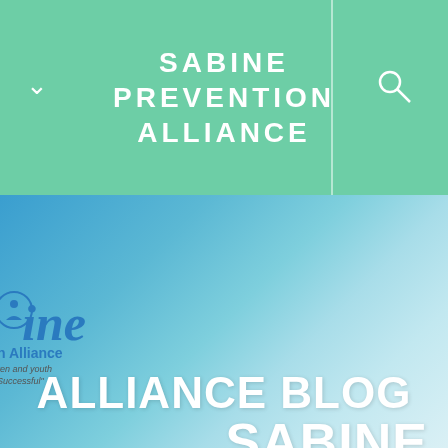SABINE PREVENTION ALLIANCE
SABINE PREVENTION
[Figure (logo): Sabine Prevention Alliance logo showing stylized 'ine' text in blue italic with 'Alliance' label and tagline 'ren and youth Successful']
ALLIANCE BLOG